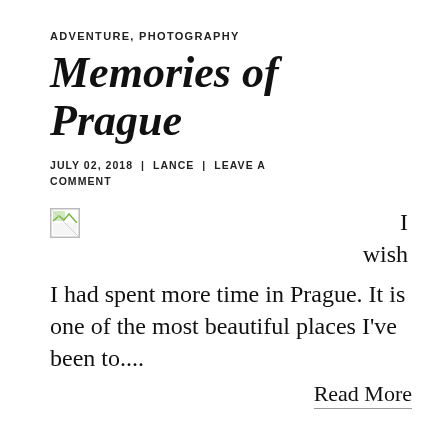ADVENTURE, PHOTOGRAPHY
Memories of Prague
JULY 02, 2018 | LANCE | LEAVE A COMMENT
[Figure (other): Broken/missing image placeholder icon]
I wish I had spent more time in Prague. It is one of the most beautiful places I've been to....
Read More